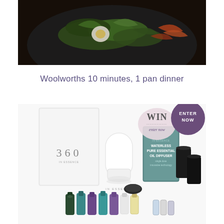[Figure (photo): Close-up photo of a salad dish on a dark plate, showing green leaves, a halved egg, and colorful vegetables on a dark background]
Woolworths 10 minutes, 1 pan dinner
[Figure (photo): Product photo showing In Essence 360 essential oil diffuser kit with box, diffuser device, essential oil bottles, and a waterless pure essential oil diffuser box with black candle holders. A purple circle badge says ENTER NOW and a light pink WIN badge is visible.]